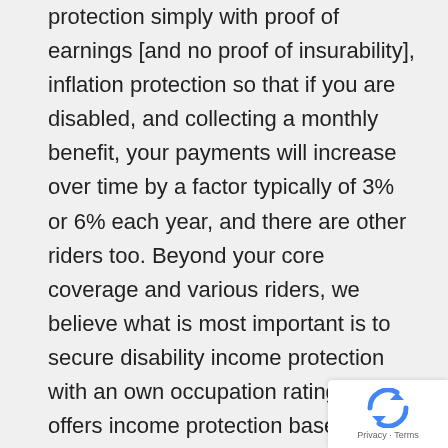protection simply with proof of earnings [and no proof of insurability], inflation protection so that if you are disabled, and collecting a monthly benefit, your payments will increase over time by a factor typically of 3% or 6% each year, and there are other riders too. Beyond your core coverage and various riders, we believe what is most important is to secure disability income protection with an own occupation rating, which offers income protection based upon your profession, and thus if you were unable to work in your original chosen field of expertise, you could be entitled to receive your full monthly benefit, even though you might now find yourself able to work in another field of